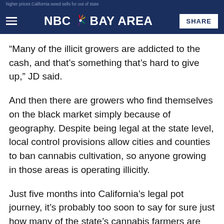higher prices California weed sells for out of state
NBC Bay Area SHARE
“Many of the illicit growers are addicted to the cash, and that’s something that’s hard to give up,” JD said.
And then there are growers who find themselves on the black market simply because of geography. Despite being legal at the state level, local control provisions allow cities and counties to ban cannabis cultivation, so anyone growing in those areas is operating illicitly.
Just five months into California’s legal pot journey, it’s probably too soon to say for sure just how many of the state’s cannabis farmers are going to survive. The coming months should be telling. In the meantime, growers face a lot of uncertainty, both on the legal market, and the illicit one.